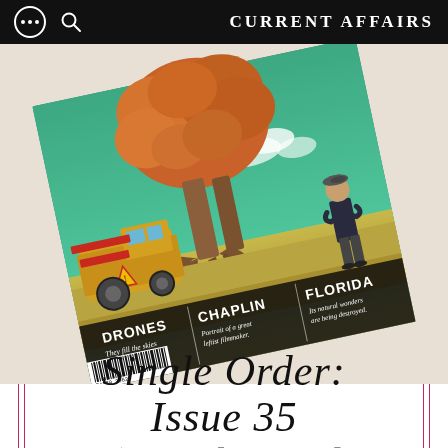CURRENT AFFAIRS
[Figure (illustration): Rotated magazine cover of Current Affairs showing a surrealist illustration of a giant bird standing in a field next to farm machinery. A man with a cap stands with arms crossed looking at the bird. Text on magazine cover reads: DRONES - They fill the skies with death. | CHAPLIN - Portrait of a great leftist filmmaker. | FLORIDA - Its natural wonders are being destroyed. Barcode visible on lower left.]
SINGLE ORDER: ISSUE 35 (MARCH-APRIL